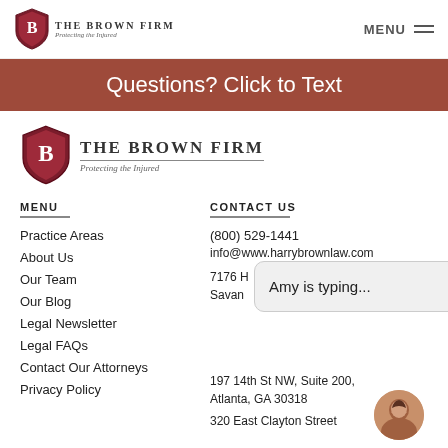THE BROWN FIRM Protecting the Injured | MENU
Questions? Click to Text
[Figure (logo): The Brown Firm shield logo with text 'THE BROWN FIRM' and tagline 'Protecting the Injured']
MENU
CONTACT US
Practice Areas
About Us
Our Team
Our Blog
Legal Newsletter
Legal FAQs
Contact Our Attorneys
Privacy Policy
(800) 529-1441
info@www.harrybrownlaw.com
7176 H...
Savan...
Amy is typing...
197 14th St NW, Suite 200,
Atlanta, GA 30318
320 East Clayton Street